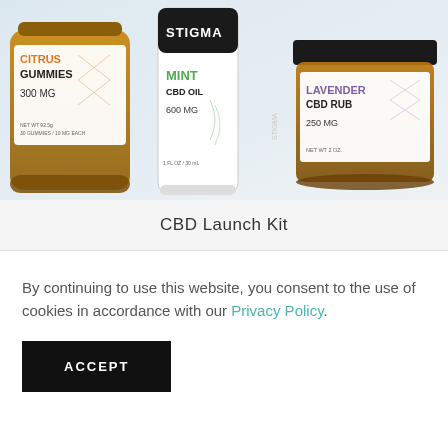[Figure (photo): Three Stigma CBD products: Citrus Gummies 300mg bottle (amber/orange), Mint CBD Oil 600mg bottle (black cap with white label), and Lavender CBD Rub 250mg amber jar with white label. Products displayed on light blue-grey background.]
CBD Launch Kit
By continuing to use this website, you consent to the use of cookies in accordance with our Privacy Policy.
ACCEPT